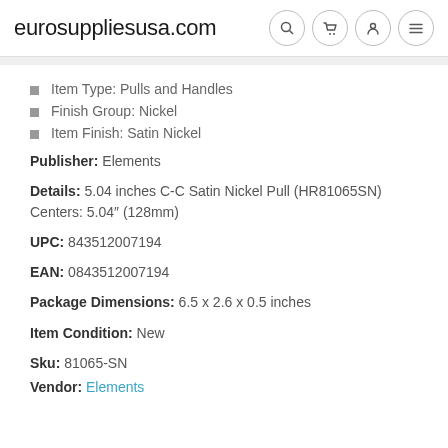eurosuppliesusa.com
Item Type: Pulls and Handles
Finish Group: Nickel
Item Finish: Satin Nickel
Publisher: Elements
Details: 5.04 inches C-C Satin Nickel Pull (HR81065SN) Centers: 5.04″ (128mm)
UPC: 843512007194
EAN: 0843512007194
Package Dimensions: 6.5 x 2.6 x 0.5 inches
Item Condition: New
Sku: 81065-SN
Vendor: Elements